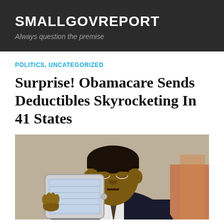SMALLGOVREPORT
Always question the premise
POLITICS, UNCATEGORIZED
Surprise! Obamacare Sends Deductibles Skyrocketing In 41 States
[Figure (photo): A man in a dark suit holding and looking at a white tablet/iPad device, photographed in an indoor setting.]